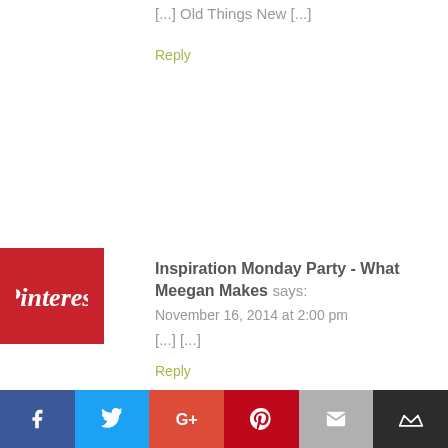[...] Old Things New [...]
Reply
[Figure (logo): Pinterest logo badge — red square with white Pinterest cursive text]
Inspiration Monday Party - What Meegan Makes says:
November 16, 2014 at 2:00 pm
[...] [...]
Reply
Inspiration Monday #71 plus